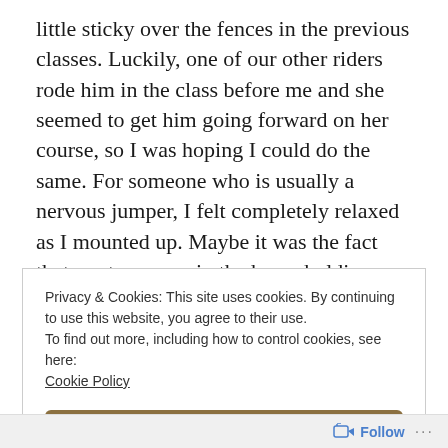little sticky over the fences in the previous classes. Luckily, one of our other riders rode him in the class before me and she seemed to get him going forward on her course, so I was hoping I could do the same. For someone who is usually a nervous jumper, I felt completely relaxed as I mounted up. Maybe it was the fact that my team was in the horse holding area, so I was surrounded by friends. I was more than thankful for the laughs and good luck wishes my team gave me
Privacy & Cookies: This site uses cookies. By continuing to use this website, you agree to their use.
To find out more, including how to control cookies, see here: Cookie Policy
Close and accept
Follow ...